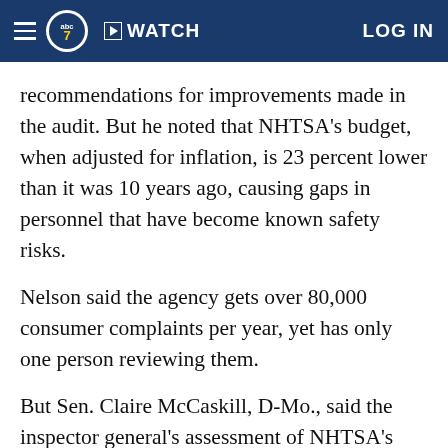ABC7 | WATCH | LOG IN
recommendations for improvements made in the audit. But he noted that NHTSA's budget, when adjusted for inflation, is 23 percent lower than it was 10 years ago, causing gaps in personnel that have become known safety risks.
Nelson said the agency gets over 80,000 consumer complaints per year, yet has only one person reviewing them.
But Sen. Claire McCaskill, D-Mo., said the inspector general's assessment of NHTSA's investigations was one of the most damning audits she had seen of a federal agency. She said NHTSA shouldn't get more funding until changes are made.